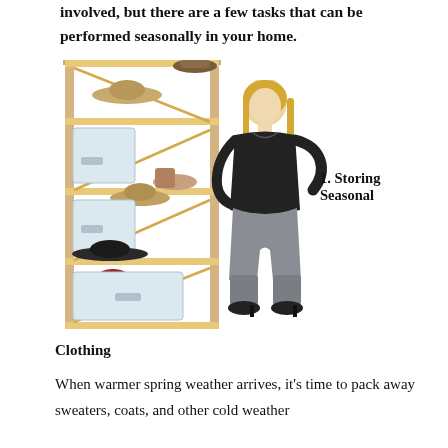involved, but there are a few tasks that can be performed seasonally in your home.
[Figure (photo): A wooden shelving unit with hats and storage boxes on its shelves, and a woman in a black top and grey jeans standing next to it leaning on the shelf.]
1. Storing Seasonal
Clothing
When warmer spring weather arrives, it's time to pack away sweaters, coats, and other cold weather